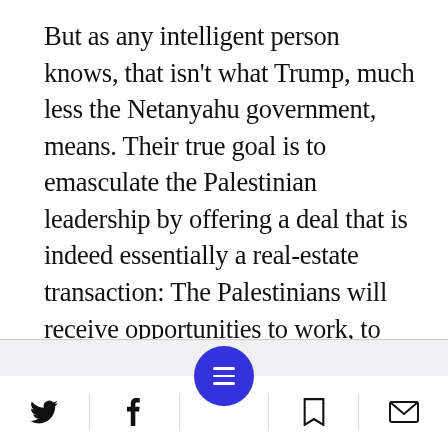But as any intelligent person knows, that isn't what Trump, much less the Netanyahu government, means. Their true goal is to emasculate the Palestinian leadership by offering a deal that is indeed essentially a real-estate transaction: The Palestinians will receive opportunities to work, to earn a living and to live in reasonable conditions in their current homes, in exchange for abandoning their national dream. They won't get a state, a capital in Jerusalem or the right of return.
[Figure (other): Mobile navigation footer bar with Twitter, Facebook, hamburger menu (blue circle), bookmark, and email icons]